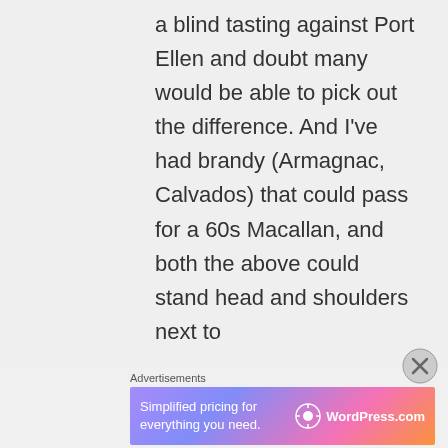a blind tasting against Port Ellen and doubt many would be able to pick out the difference. And I've had brandy (Armagnac, Calvados) that could pass for a 60s Macallan, and both the above could stand head and shoulders next to
Advertisements
[Figure (other): WordPress.com advertisement banner with gradient pink-purple background. Text: 'Simplified pricing for everything you need.' with WordPress.com logo.]